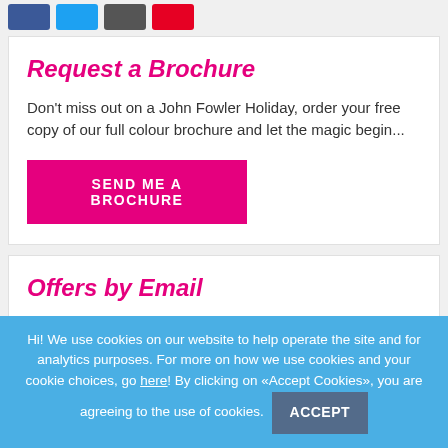[Figure (other): Social media share buttons: Facebook (dark blue), Twitter (light blue), Google+ (dark grey), Pinterest (red)]
Request a Brochure
Don't miss out on a John Fowler Holiday, order your free copy of our full colour brochure and let the magic begin...
SEND ME A BROCHURE
Offers by Email
We promise we won't spam you, but we will keep you up-to-date on sales, discounts, and more!
Hi! We use cookies on our website to help operate the site and for analytics purposes. For more on how we use cookies and your cookie choices, go here! By clicking on «Accept Cookies», you are agreeing to the use of cookies. ACCEPT